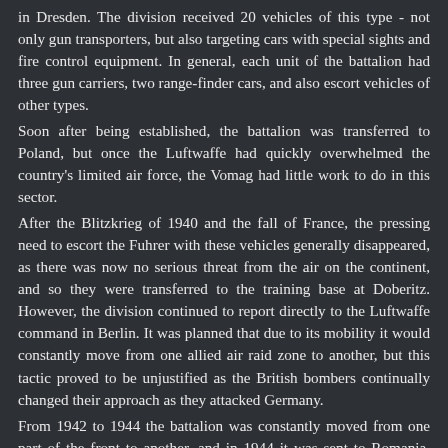in Dresden. The division received 20 vehicles of this type - not only gun transporters, but also targeting cars with special sights and fire control equipment. In general, each unit of the battalion had three gun carriers, two range-finder cars, and also escort vehicles of other types.
Soon after being established, the battalion was transferred to Poland, but once the Luftwaffe had quickly overwhelmed the country's limited air force, the Vomag had little work to do in this sector.
After the Blitzkrieg of 1940 and the fall of France, the pressing need to escort the Fuhrer with these vehicles generally disappeared, as there was now no serious threat from the air on the continent, and so they were transferred to the training base at Doberitz. However, the division continued to report directly to the Luftwaffe command in Berlin. It was planned that due to its mobility it would constantly move from one allied air raid zone to another, but this tactic proved to be unjustified as the British bombers continually changed their approach as they attacked Germany.
From 1942 to 1944 the battalion was constantly moved from one part of the front to another, and in 1944 it was sent to Romania, where at that time the government of the country